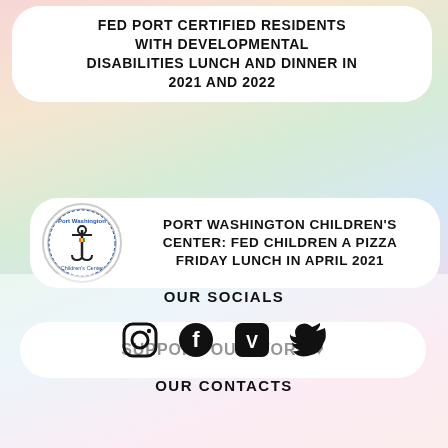FED PORT CERTIFIED RESIDENTS WITH DEVELOPMENTAL DISABILITIES LUNCH AND DINNER IN 2021 AND 2022
[Figure (logo): Port Washington Children's Center circular logo with anchor and lighthouse]
PORT WASHINGTON CHILDREN'S CENTER: FED CHILDREN A PIZZA FRIDAY LUNCH IN APRIL 2021
SUPPORT OUR WORK ♥
OUR SOCIALS
[Figure (infographic): Social media icons: Instagram, Facebook, Venmo, Twitter]
OUR CONTACTS